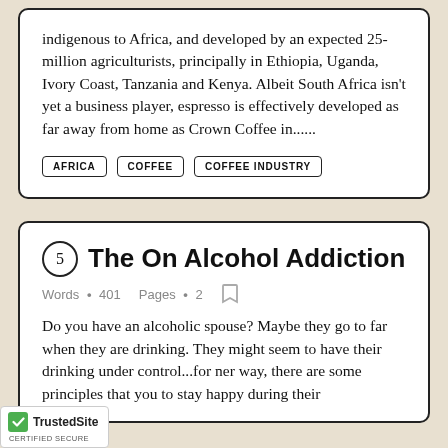indigenous to Africa, and developed by an expected 25-million agriculturists, principally in Ethiopia, Uganda, Ivory Coast, Tanzania and Kenya. Albeit South Africa isn't yet a business player, espresso is effectively developed as far away from home as Crown Coffee in......
AFRICA
COFFEE
COFFEE INDUSTRY
5 The On Alcohol Addiction
Words • 401   Pages • 2
Do you have an alcoholic spouse? Maybe they go to far when they are drinking. They might seem to have their drinking under control...for her way, there are some principles that you to stay happy during their